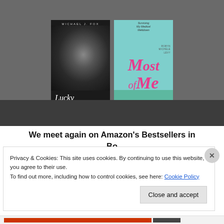[Figure (photo): Two book covers side by side on a gray background. Left: 'Lucky Man' by Michael J. Fox, black and white cover with author's face. Right: 'Most of Me' by Robyn Michele Levy, colorful teal cover.]
We meet again on Amazon's Bestsellers in
Privacy & Cookies: This site uses cookies. By continuing to use this website, you agree to their use.
To find out more, including how to control cookies, see here: Cookie Policy
Close and accept